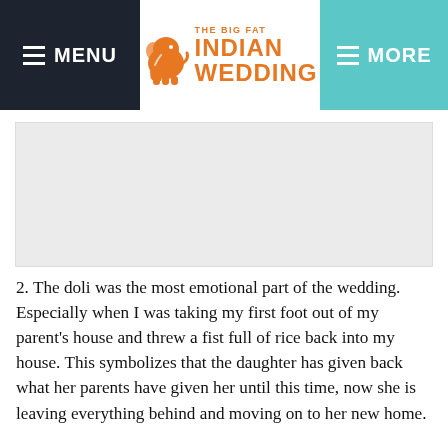MENU | THE BIG FAT INDIAN WEDDING | MORE
[Figure (photo): Light gray placeholder image area]
2. The doli was the most emotional part of the wedding. Especially when I was taking my first foot out of my parent’s house and threw a fist full of rice back into my house. This symbolizes that the daughter has given back what her parents have given her until this time, now she is leaving everything behind and moving on to her new home.